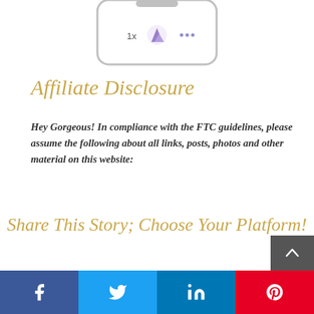[Figure (screenshot): Top portion of a smartphone frame showing a mobile app UI with '1x', a purple mountain/landscape icon, and '...' dots menu]
Affiliate Disclosure
Hey Gorgeous! In compliance with the FTC guidelines, please assume the following about all links, posts, photos and other material on this website:
Share This Story; Choose Your Platform!
[Figure (infographic): Social share buttons row: Facebook (blue), Twitter (blue), LinkedIn (blue), Pinterest (red), with a scroll-to-top arrow button in gray]